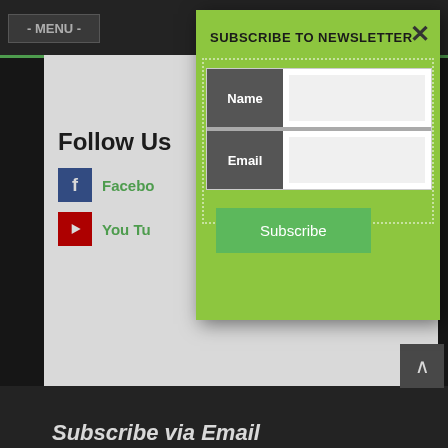- MENU -
Follow Us
Facebook
You Tu
Subscribe via Email
Enter your email address to subscribe to Nigerian Entertainment and receive notifications of new posts by email.
Email Address
Subscribe
Categories
SUBSCRIBE TO NEWSLETTER
Name
Email
Subscribe